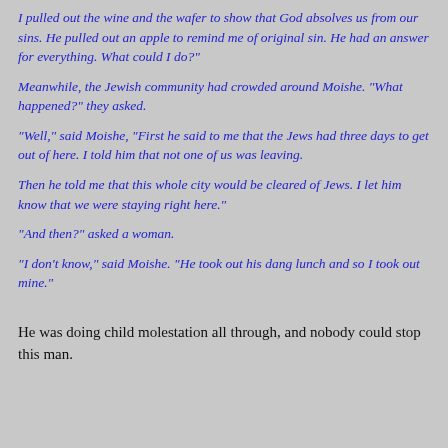I pulled out the wine and the wafer to show that God absolves us from our sins. He pulled out an apple to remind me of original sin. He had an answer for everything. What could I do?"
Meanwhile, the Jewish community had crowded around Moishe. "What happened?" they asked.
"Well," said Moishe, "First he said to me that the Jews had three days to get out of here. I told him that not one of us was leaving.
Then he told me that this whole city would be cleared of Jews. I let him know that we were staying right here."
"And then?" asked a woman.
"I don't know," said Moishe. "He took out his dang lunch and so I took out mine."
He was doing child molestation all through, and nobody could stop this man.